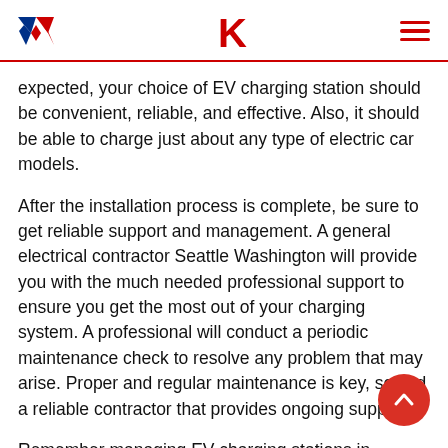[Figure (logo): Header with two logos (W logo in blue/red, K logo in red) and a red hamburger menu icon on the right]
expected, your choice of EV charging station should be convenient, reliable, and effective. Also, it should be able to charge just about any type of electric car models.
After the installation process is complete, be sure to get reliable support and management. A general electrical contractor Seattle Washington will provide you with the much needed professional support to ensure you get the most out of your charging system. A professional will conduct a periodic maintenance check to resolve any problem that may arise. Proper and regular maintenance is key, so find a reliable contractor that provides ongoing support.
Remember managing EV charging stations in apartment complexes can be overwhelming for property owners. This is why you should have the right solutions and support in place for improved efficiency. In this case, a general electrical